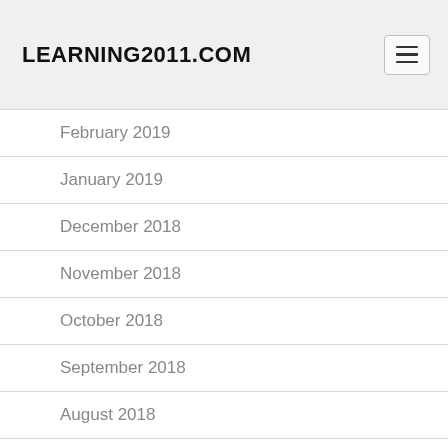LEARNING2011.COM
February 2019
January 2019
December 2018
November 2018
October 2018
September 2018
August 2018
July 2018
June 2018